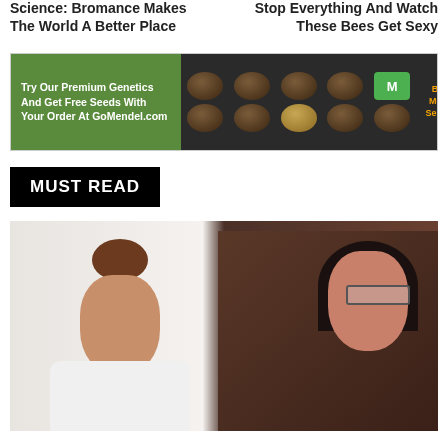Science: Bromance Makes The World A Better Place
Stop Everything And Watch These Bees Get Sexy
[Figure (illustration): Advertisement banner for GoMendel.com showing cannabis seeds on dark background with green left panel and Brother Mendel's Selections branding]
MUST READ
[Figure (photo): Two people laughing together: a bearded man with hair bun on the left and a woman with dark hair and glasses on the right, against a light background]